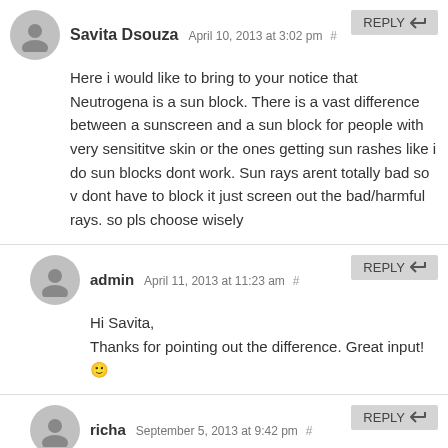Savita Dsouza April 10, 2013 at 3:02 pm #
Here i would like to bring to your notice that Neutrogena is a sun block. There is a vast difference between a sunscreen and a sun block for people with very sensititve skin or the ones getting sun rashes like i do sun blocks dont work. Sun rays arent totally bad so v dont have to block it just screen out the bad/harmful rays. so pls choose wisely
admin April 11, 2013 at 11:23 am #
Hi Savita,
Thanks for pointing out the difference. Great input! 🙂
richa September 5, 2013 at 9:42 pm #
thanks for d information